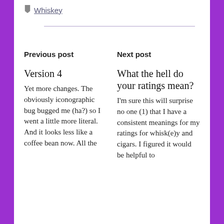Whiskey
Previous post
Next post
Version 4
Yet more changes. The obviously iconographic bug bugged me (ha?) so I went a little more literal. And it looks less like a coffee bean now. All the
What the hell do your ratings mean?
I’m sure this will surprise no one (1) that I have a consistent meanings for my ratings for whisk(e)y and cigars. I figured it would be helpful to